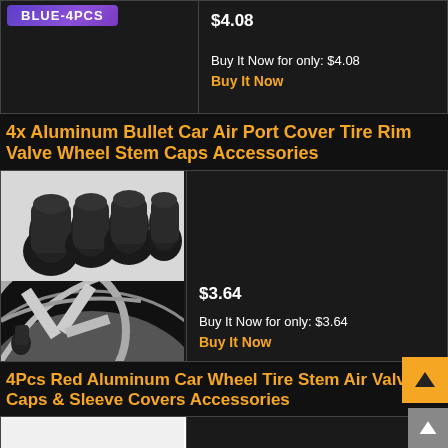[Figure (screenshot): Top partial product listing showing BLUE-4PCS badge image on left and price $4.08 with Buy It Now text on right]
4x Aluminum Bullet Car Air Port Cover Tire Rim Valve Wheel Stem Caps Accessories
[Figure (photo): Two product images: four black textured metal valve stem caps, and a car wheel rim with a cap installed]
$3.64
Buy It Now for only: $3.64
Buy It Now
4Pcs Red Aluminum Car Wheel Tire Stem Air Valve Caps & Sleeve Covers Accessories
[Figure (photo): Partial bottom product listing image (white/light background product photo, cropped)]